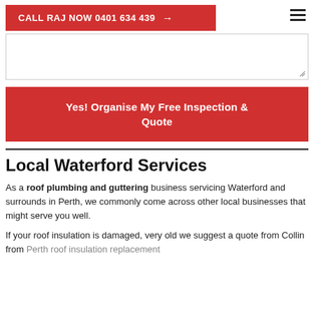CALL RAJ NOW 0401 634 439 →
[Figure (other): Text area input box (empty form field)]
Yes! Organise My Free Inspection & Quote
Local Waterford Services
As a roof plumbing and guttering business servicing Waterford and surrounds in Perth, we commonly come across other local businesses that might serve you well.
If your roof insulation is damaged, very old we suggest a quote from Collin from Perth roof insulation replacement